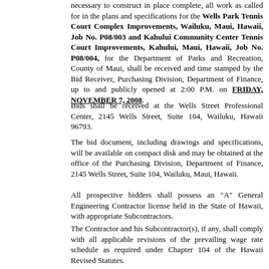necessary to construct in place complete, all work as called for in the plans and specifications for the Wells Park Tennis Court Complex Improvements, Wailuku, Maui, Hawaii, Job No. P08/003 and Kahului Community Center Tennis Court Improvements, Kahului, Maui, Hawaii, Job No. P08/004, for the Department of Parks and Recreation, County of Maui, shall be received and time stamped by the Bid Receiver, Purchasing Division, Department of Finance, up to and publicly opened at 2:00 P.M. on FRIDAY, NOVEMBER 7, 2008.
Bids shall be received at the Wells Street Professional Center, 2145 Wells Street, Suite 104, Wailuku, Hawaii 96793.
The bid document, including drawings and specifications, will be available on compact disk and may be obtained at the office of the Purchasing Division, Department of Finance, 2145 Wells Street, Suite 104, Wailuku, Maui, Hawaii.
All prospective bidders shall possess an "A" General Engineering Contractor license held in the State of Hawaii, with appropriate Subcontractors.
The Contractor and his Subcontractor(s), if any, shall comply with all applicable revisions of the prevailing wage rate schedule as required under Chapter 104 of the Hawaii Revised Statutes.